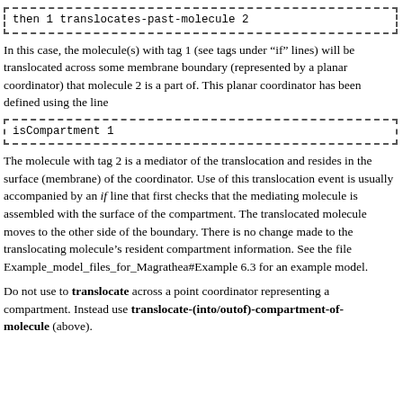[Figure (screenshot): Code box with dashed border containing: then 1 translocates-past-molecule 2]
In this case, the molecule(s) with tag 1 (see tags under “if” lines) will be translocated across some membrane boundary (represented by a planar coordinator) that molecule 2 is a part of. This planar coordinator has been defined using the line
[Figure (screenshot): Code box with dashed border containing: isCompartment 1]
The molecule with tag 2 is a mediator of the translocation and resides in the surface (membrane) of the coordinator. Use of this translocation event is usually accompanied by an if line that first checks that the mediating molecule is assembled with the surface of the compartment. The translocated molecule moves to the other side of the boundary. There is no change made to the translocating molecule’s resident compartment information. See the file Example_model_files_for_Magrathea#Example 6.3 for an example model.
Do not use to translocate across a point coordinator representing a compartment. Instead use translocate-(into/outof)-compartment-of-molecule (above).